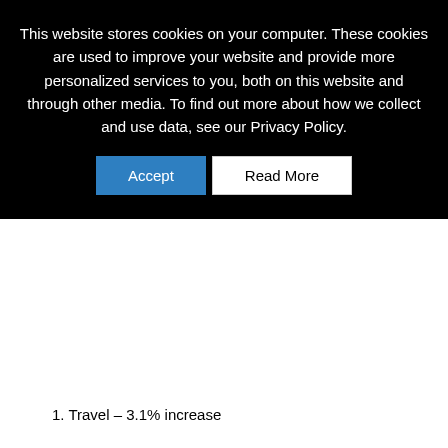This website stores cookies on your computer. These cookies are used to improve your website and provide more personalized services to you, both on this website and through other media. To find out more about how we collect and use data, see our Privacy Policy.
[Figure (screenshot): Two buttons: a blue 'Accept' button and a white 'Read More' button]
1. Travel – 3.1% increase